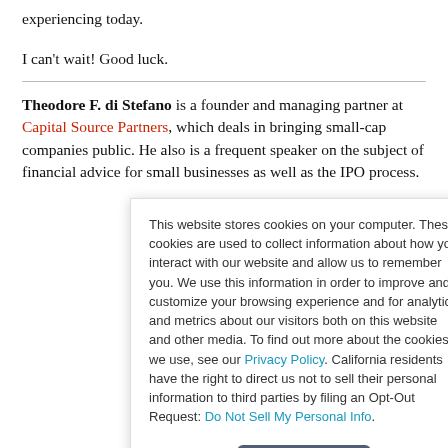experiencing today.
I can't wait! Good luck.
Theodore F. di Stefano is a founder and managing partner at Capital Source Partners, which deals in bringing small-cap companies public. He also is a frequent speaker on the subject of financial advice for small businesses as well as the IPO process.
This website stores cookies on your computer. These cookies are used to collect information about how you interact with our website and allow us to remember you. We use this information in order to improve and customize your browsing experience and for analytics and metrics about our visitors both on this website and other media. To find out more about the cookies we use, see our Privacy Policy. California residents have the right to direct us not to sell their personal information to third parties by filing an Opt-Out Request: Do Not Sell My Personal Info.